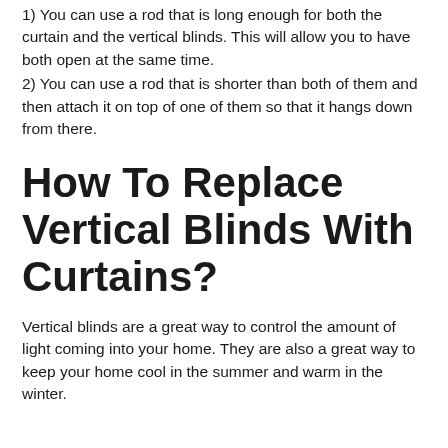1) You can use a rod that is long enough for both the curtain and the vertical blinds. This will allow you to have both open at the same time.
2) You can use a rod that is shorter than both of them and then attach it on top of one of them so that it hangs down from there.
How To Replace Vertical Blinds With Curtains?
Vertical blinds are a great way to control the amount of light coming into your home. They are also a great way to keep your home cool in the summer and warm in the winter.